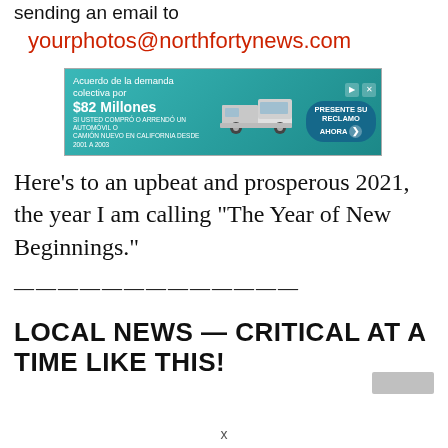sending an email to
yourphotos@northfortynews.com
[Figure (other): Spanish-language advertisement for an $82 million class action lawsuit settlement related to automobile purchases in California from 2001 to 2003. Shows a truck image and a 'PRESENTE SU RECLAMO AHORA' call-to-action button.]
Here’s to an upbeat and prosperous 2021, the year I am calling “The Year of New Beginnings.”
———————————
LOCAL NEWS — CRITICAL AT A TIME LIKE THIS!